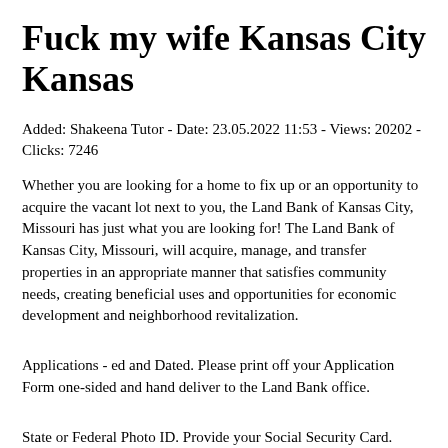Fuck my wife Kansas City Kansas
Added: Shakeena Tutor - Date: 23.05.2022 11:53 - Views: 20202 - Clicks: 7246
Whether you are looking for a home to fix up or an opportunity to acquire the vacant lot next to you, the Land Bank of Kansas City, Missouri has just what you are looking for! The Land Bank of Kansas City, Missouri, will acquire, manage, and transfer properties in an appropriate manner that satisfies community needs, creating beneficial uses and opportunities for economic development and neighborhood revitalization.
Applications - ed and Dated. Please print off your Application Form one-sided and hand deliver to the Land Bank office.
State or Federal Photo ID. Provide your Social Security Card.